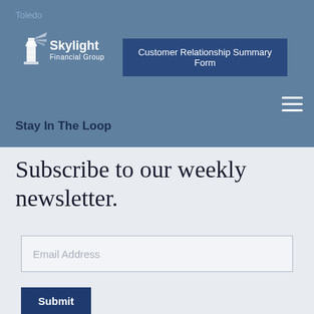Toledo
[Figure (logo): Skylight Financial Group lighthouse logo with white lighthouse icon and white text]
Customer Relationship Summary Form
Stay In The Loop
Subscribe to our weekly newsletter.
Email Address
Submit